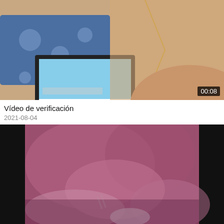[Figure (photo): Video thumbnail showing a person from the chest/neck up, with a necklace, sitting near a blue polka-dot pillow and a laptop screen showing a blue sky image. Duration badge shows 00:08 in bottom-right corner.]
V&iacute;deo de verificaci&oacute;n
2021-08-04
[Figure (photo): Video thumbnail showing a close-up blurry image with pink/purple tones, appears to show a person on a couch or bed, with black bars on left and right sides.]